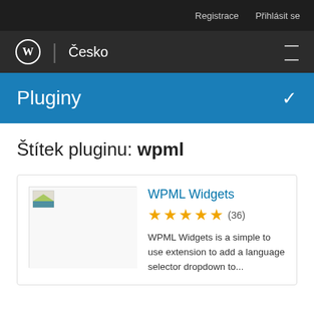Registrace  Přihlásit se
WordPress | Česko
Pluginy
Štítek pluginu: wpml
[Figure (screenshot): Plugin thumbnail placeholder image for WPML Widgets]
WPML Widgets
★★★★★ (36)
WPML Widgets is a simple to use extension to add a language selector dropdown to...